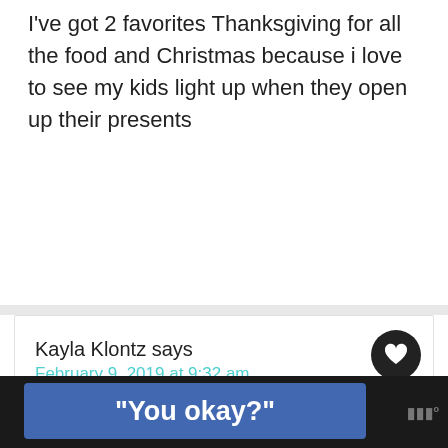I've got 2 favorites Thanksgiving for all the food and Christmas because i love to see my kids light up when they open up their presents
Kayla Klontz says
February 9, 2019 at 9:32 am
4th of July is my least favorite because my entire family gets stupid drunk that day. LOL!
[Figure (infographic): What's Next widget showing Teleflora Valentine's... with flower image]
"You okay?"